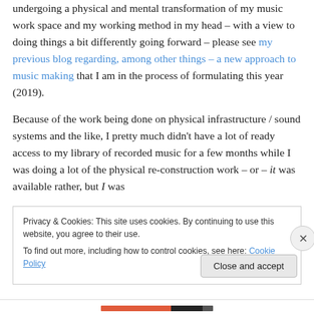undergoing a physical and mental transformation of my music work space and my working method in my head – with a view to doing things a bit differently going forward – please see my previous blog regarding, among other things – a new approach to music making that I am in the process of formulating this year (2019).
Because of the work being done on physical infrastructure / sound systems and the like, I pretty much didn't have a lot of ready access to my library of recorded music for a few months while I was doing a lot of the physical re-construction work – or – it was available rather, but I was
Privacy & Cookies: This site uses cookies. By continuing to use this website, you agree to their use.
To find out more, including how to control cookies, see here: Cookie Policy
Close and accept